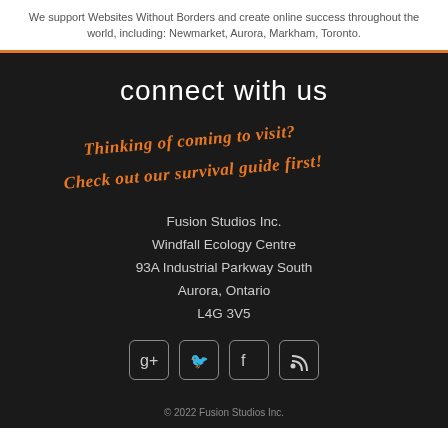We support Websites Without Borders and create online success throughout the world, including: Newmarket, Aurora, Markham, Toronto.
connect with us
[Figure (illustration): Handwritten orange italic text on dark background reading: Thinking of coming to visit? Check out our survival guide first!]
Fusion Studios Inc.
Windfall Ecology Centre
93A Industrial Parkway South
Aurora, Ontario
L4G 3V5
[Figure (other): Row of four social media icon buttons: Google+, Twitter, Facebook, RSS feed]
© 2022 Fusion Studios Inc.